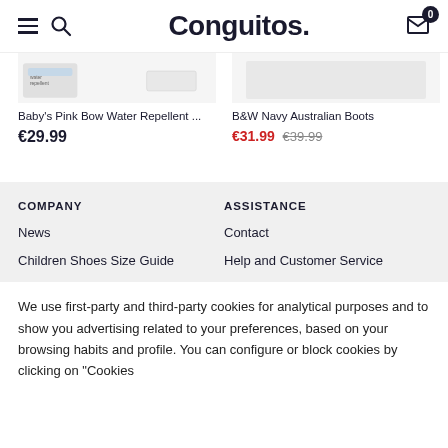Conguitos — Navigation header with hamburger menu, search icon, logo, and cart (0 items)
Baby's Pink Bow Water Repellent ...
€29.99
B&W Navy Australian Boots
€31.99  €39.99
COMPANY
ASSISTANCE
News
Contact
Children Shoes Size Guide
Help and Customer Service
We use first-party and third-party cookies for analytical purposes and to show you advertising related to your preferences, based on your browsing habits and profile. You can configure or block cookies by clicking on "Cookies